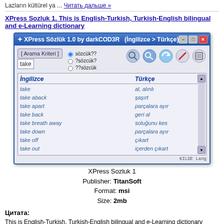Lazların kültürel ya ... Читать дальше »
XPress Sozluk 1. This is English-Turkish, Turkish-English bilingual and e-Learning dictionary
[Figure (screenshot): Screenshot of XPress Sözlük 1.0 by darkCOD3R dictionary software showing English-Turkish word lookup for 'take']
XPress Sozluk 1
Publisher: TitanSoft
Format: msi
Size: 2mb
Цитата:
This is English-Turkish, Turkish-English bilingual and e-Learning dictionary